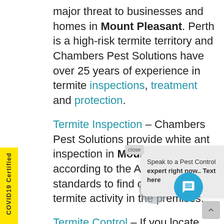major threat to businesses and homes in Mount Pleasant. Perth is a high-risk termite territory and Chambers Pest Solutions have over 25 years of experience in termite inspections, treatment and protection.
Termite Inspection – Chambers Pest Solutions provide white ant inspection in Mount Pleasant according to the Australian standards to find current and past termite activity in the premises.
Termite Control – If you locate any termite activity at your property. Call us to get the proper termite treatment done before the building is destroyed from underneath you.
Sentricon – Sentricon has been tested and proven to be the most outstanding termite
[Figure (other): Chat popup overlay with text 'Speak to a Pest Control expert right now.. Text here' with close button, circular avatar, and blue chat icon button]